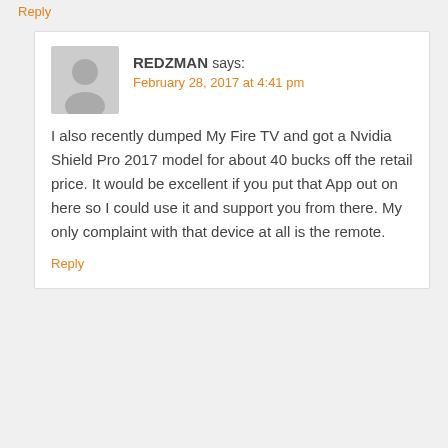Reply
REDZMAN says: February 28, 2017 at 4:41 pm
I also recently dumped My Fire TV and got a Nvidia Shield Pro 2017 model for about 40 bucks off the retail price. It would be excellent if you put that App out on here so I could use it and support you from there. My only complaint with that device at all is the remote.
Reply